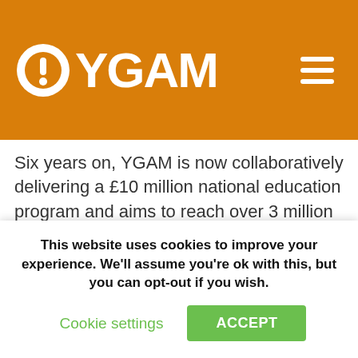YGAM
Six years on, YGAM is now collaboratively delivering a £10 million national education program and aims to reach over 3 million young people over the next 4 years. Lee works more hours a week than anyone I know, and words cannot describe the gratitude I have for the contribution he has made to safeguard young people in this country. I would love to see YGAM continue to grow especially into the key education and health circles. Being a founding
This website uses cookies to improve your experience. We'll assume you're ok with this, but you can opt-out if you wish. Cookie settings ACCEPT